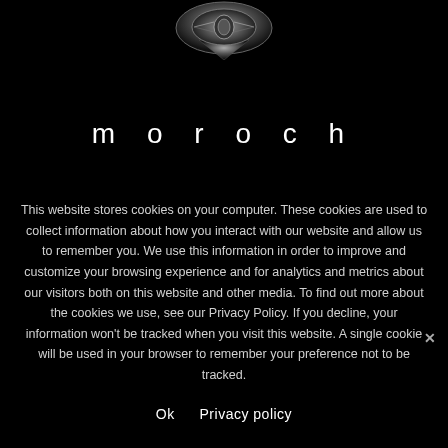[Figure (logo): Moroch logo — a silver metallic badge/shield emblem at the top center of a black background]
moroch
This website stores cookies on your computer. These cookies are used to collect information about how you interact with our website and allow us to remember you. We use this information in order to improve and customize your browsing experience and for analytics and metrics about our visitors both on this website and other media. To find out more about the cookies we use, see our Privacy Policy. If you decline, your information won't be tracked when you visit this website. A single cookie will be used in your browser to remember your preference not to be tracked.
Ok   Privacy policy